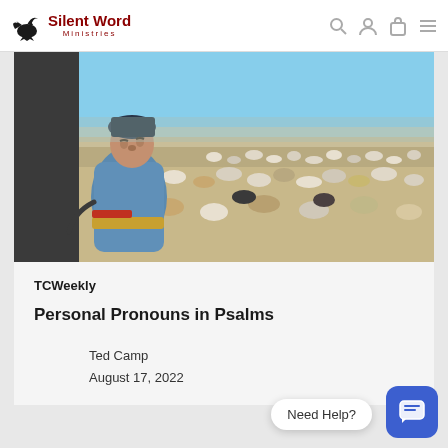Silent Word Ministries
[Figure (photo): A shepherd man in a blue jacket and dark hat sitting with a large herd of sheep and goats on an open steppe/desert landscape]
TCWeekly
Personal Pronouns in Psalms
Ted Camp
August 17, 2022